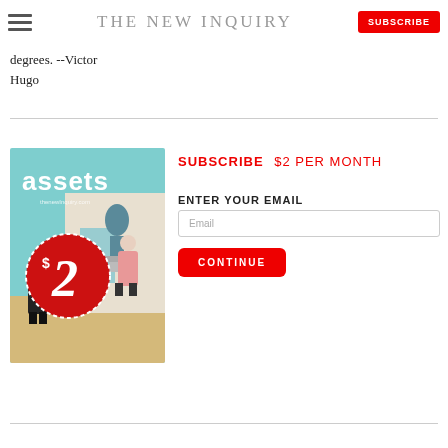THE NEW INQUIRY | SUBSCRIBE
degrees. --Victor Hugo
[Figure (illustration): Magazine cover for 'assets' issue showing a Hockney-style painting with a woman in pink and a man, with a large red $2 badge overlay]
SUBSCRIBE $2 PER MONTH
ENTER YOUR EMAIL
CONTINUE